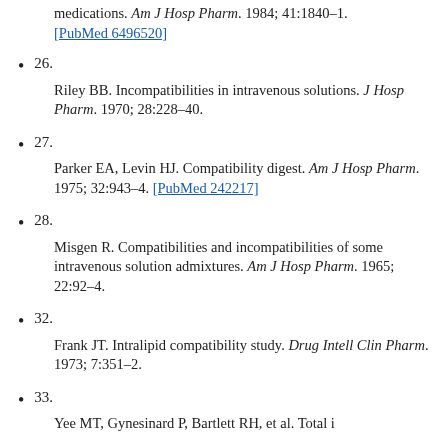medications. Am J Hosp Pharm. 1984; 41:1840–1. [PubMed 6496520]
26.
Riley BB. Incompatibilities in intravenous solutions. J Hosp Pharm. 1970; 28:228–40.
27.
Parker EA, Levin HJ. Compatibility digest. Am J Hosp Pharm. 1975; 32:943–4. [PubMed 242217]
28.
Misgen R. Compatibilities and incompatibilities of some intravenous solution admixtures. Am J Hosp Pharm. 1965; 22:92–4.
32.
Frank JT. Intralipid compatibility study. Drug Intell Clin Pharm. 1973; 7:351–2.
33.
Yee MT, Gynesinard P, Bartlett RH, et al. Total intravenous...